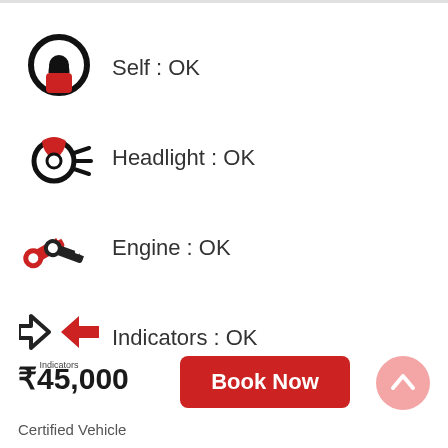Self : OK
Headlight : OK
Engine : OK
Indicators : OK
₹45,000
Book Now
Certified Vehicle